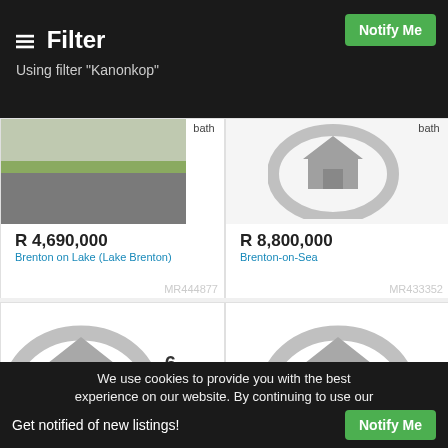Filter
Using filter "Kanonkop"
[Figure (screenshot): Property listing card top-left: photo of a property (driveway/grass), price R 4,690,000, location Brenton on Lake (Lake Brenton), ref MR444877]
[Figure (screenshot): Property listing card top-right: house placeholder icon, bath label, price R 8,800,000, location Brenton-on-Sea, ref MR433352]
[Figure (screenshot): Property listing card bottom-left: house placeholder icon, 6 bed, 3 bath]
[Figure (screenshot): Property listing card bottom-right: house placeholder icon]
We use cookies to provide you with the best experience on our website. By continuing to use our
Get notified of new listings!
Notify Me